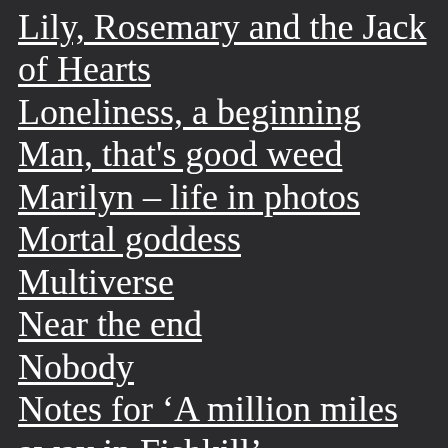Lily, Rosemary and the Jack of Hearts
Loneliness, a beginning
Man, that's good weed
Marilyn – life in photos
Mortal goddess
Multiverse
Near the end
Nobody
Notes for 'A million miles away in Fishkill'
Perce and Isabel
Pictures of Christ